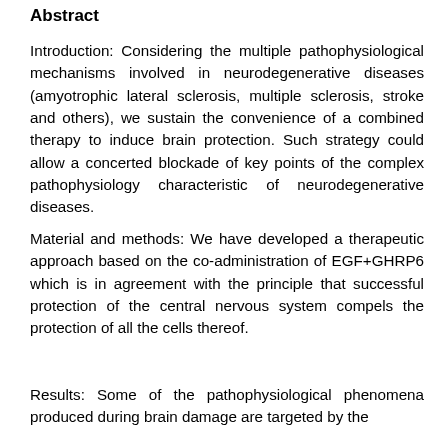Abstract
Introduction: Considering the multiple pathophysiological mechanisms involved in neurodegenerative diseases (amyotrophic lateral sclerosis, multiple sclerosis, stroke and others), we sustain the convenience of a combined therapy to induce brain protection. Such strategy could allow a concerted blockade of key points of the complex pathophysiology characteristic of neurodegenerative diseases.
Material and methods: We have developed a therapeutic approach based on the co-administration of EGF+GHRP6 which is in agreement with the principle that successful protection of the central nervous system compels the protection of all the cells thereof.
Results: Some of the pathophysiological phenomena produced during brain damage are targeted by the